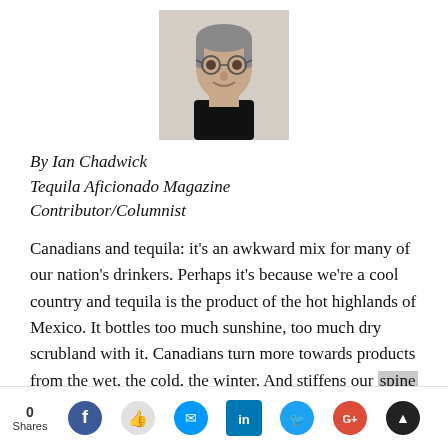[Figure (photo): Headshot photograph of Ian Chadwick, a middle-aged man with round glasses, wearing a dark top, smiling slightly.]
By Ian Chadwick
Tequila Aficionado Magazine
Contributor/Columnist
Canadians and tequila: it’s an awkward mix for many of our nation’s drinkers. Perhaps it’s because we’re a cool country and tequila is the product of the hot highlands of Mexico. It bottles too much sunshine, too much dry scrubland with it. Canadians turn more towards products from the wet, the cold, the winter. And stiffens our spine
0 Shares  [social share icons: Facebook, Like, Messenger, LinkedIn, Twitter, Google+, other]